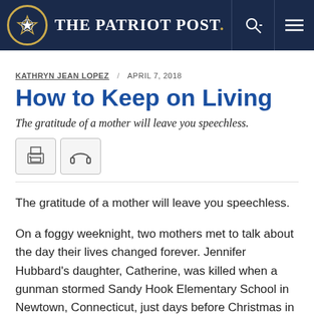The Patriot Post
KATHRYN JEAN LOPEZ / APRIL 7, 2018
How to Keep on Living
The gratitude of a mother will leave you speechless.
[Figure (illustration): Print and audio icon buttons]
The gratitude of a mother will leave you speechless.

On a foggy weeknight, two mothers met to talk about the day their lives changed forever. Jennifer Hubbard's daughter, Catherine, was killed when a gunman stormed Sandy Hook Elementary School in Newtown, Connecticut, just days before Christmas in 2012. Dawn Ford was a second-grade teacher there. At the time of the attack, she was in a conference